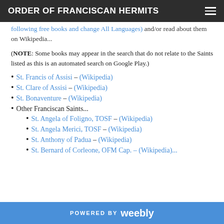ORDER OF FRANCISCAN HERMITS
following free books and change Languages) and/or read about them on Wikipedia...
(NOTE: Some books may appear in the search that do not relate to the Saints listed as this is an automated search on Google Play.)
St. Francis of Assisi – (Wikipedia)
St. Clare of Assisi – (Wikipedia)
St. Bonaventure – (Wikipedia)
Other Franciscan Saints...
St. Angela of Foligno, TOSF – (Wikipedia)
St. Angela Merici, TOSF – (Wikipedia)
St. Anthony of Padua – (Wikipedia)
St. Bernard of Corleone, OFM Cap. – (Wikipedia)
POWERED BY weebly